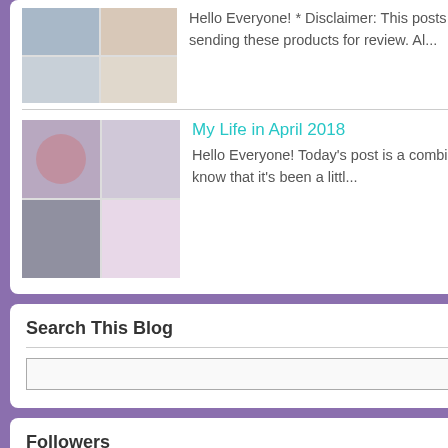Hello Everyone! * Disclaimer: This posts contains PR Samples from Vagisil. Thank you Vagisil for sending these products for review. Al...
My Life in April 2018
Hello Everyone! Today's post is a combination of monthly lifestyle, out and about, and an update. I know that it's been a littl...
Search This Blog
Followers
Followers (144) Next
Th... M...
Pi...
Post a...
Newer P...